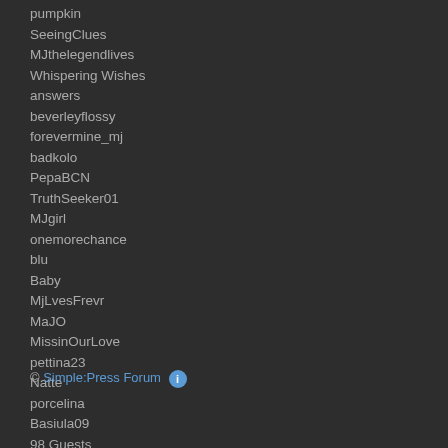pumpkin
SeeingClues
MJthelegendlives
Whispering Wishes
answers
beverleyflossy
forevermine_mj
badkolo
PepaBCN
TruthSeeker01
MJgirl
onemorechance
blu
Baby
MjLvesFrevr
MaJO
MissinOurLove
pettina23
Natte
porcelina
Basiula09
98 Guests
Administrators: Admin (67 Posts)
Moderators: Moderator (200 Posts)
© Simple:Press Forum